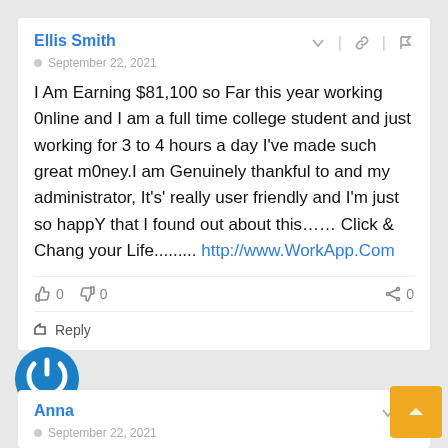Ellis Smith
September 22, 2021
I Am Earning $81,100 so Far this year working 0nline and I am a full time college student and just working for 3 to 4 hours a day I've made such great m0ney.I am Genuinely thankful to and my administrator, It's' really user friendly and I'm just so happY that I found out about this…… Click & Chang your Life......... http://www.WorkApp.Com
0  0  0
Reply
Anna
September 22, 2021